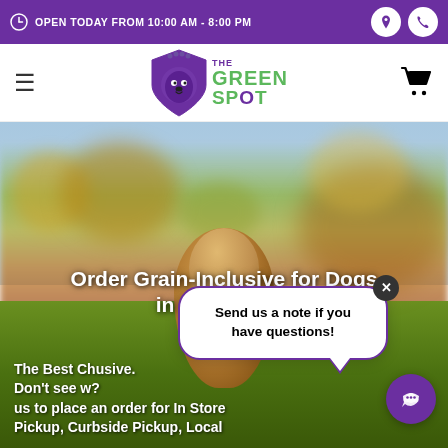OPEN TODAY FROM 10:00 AM - 8:00 PM
[Figure (logo): The Green Spot pet store logo with shield emblem and green text]
[Figure (photo): A golden/yellow dog photographed outdoors with blurry foliage background in autumn colors]
Order Grain-Inclusive for Dogs in Omaha, NE
The Best Ch... usive. Don't see w...? us to place an order for In Store Pickup, Curbside Pickup, Local
[Figure (other): Chat popup bubble saying 'Send us a note if you have questions!' with close button and purple chat icon button]